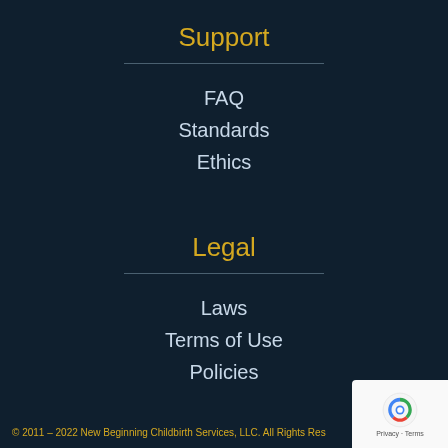Support
FAQ
Standards
Ethics
Legal
Laws
Terms of Use
Policies
© 2011 – 2022 New Beginning Childbirth Services, LLC. All Rights Res…